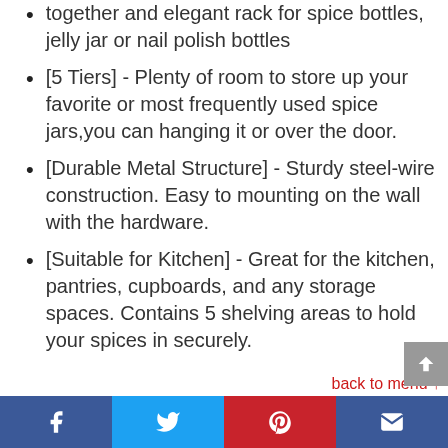together and elegant rack for spice bottles, jelly jar or nail polish bottles
[5 Tiers] - Plenty of room to store up your favorite or most frequently used spice jars,you can hanging it or over the door.
[Durable Metal Structure] - Sturdy steel-wire construction. Easy to mounting on the wall with the hardware.
[Suitable for Kitchen] - Great for the kitchen, pantries, cupboards, and any storage spaces. Contains 5 shelving areas to hold your spices in securely.
back to menu ↑
Social share bar: Facebook, Twitter, Pinterest, Email